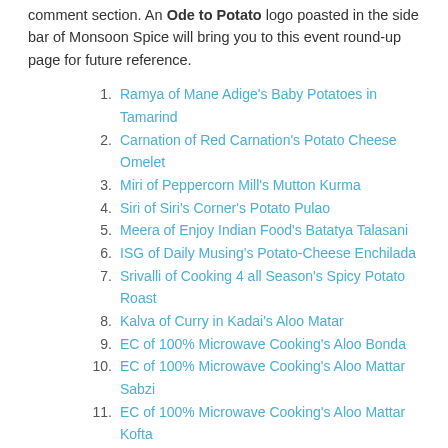comment section. An Ode to Potato logo poasted in the side bar of Monsoon Spice will bring you to this event round-up page for future reference.
Ramya of Mane Adige's Baby Potatoes in Tamarind
Carnation of Red Carnation's Potato Cheese Omelet
Miri of Peppercorn Mill's Mutton Kurma
Siri of Siri's Corner's Potato Pulao
Meera of Enjoy Indian Food's Batatya Talasani
ISG of Daily Musing's Potato-Cheese Enchilada
Srivalli of Cooking 4 all Season's Spicy Potato Roast
Kalva of Curry in Kadai's Aloo Matar
EC of 100% Microwave Cooking's Aloo Bonda
EC of 100% Microwave Cooking's Aloo Mattar Sabzi
EC of 100% Microwave Cooking's Aloo Mattar Kofta
EC of 100% Microwave Cooking's Aloo Paratha
EC of 100% Microwave Cooking's Aloo Peas Paratha
EC of 100% Microwave Cooking's Aloo Fry
EC of 100% Microwave Cooking's Chatpata Aloo